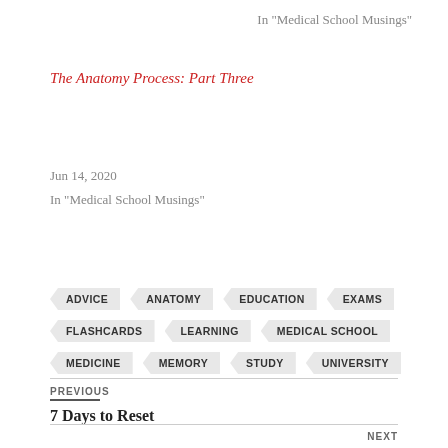In "Medical School Musings"
The Anatomy Process: Part Three
Jun 14, 2020
In "Medical School Musings"
ADVICE  ANATOMY  EDUCATION  EXAMS  FLASHCARDS  LEARNING  MEDICAL SCHOOL  MEDICINE  MEMORY  STUDY  UNIVERSITY
PREVIOUS
7 Days to Reset
NEXT